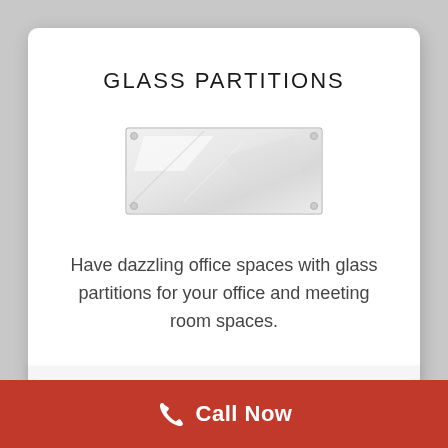GLASS PARTITIONS
[Figure (illustration): A small rectangular glass panel illustration, semi-transparent with subtle reflective highlights, shown with corner screws/fasteners.]
Have dazzling office spaces with glass partitions for your office and meeting room spaces.
Call Now